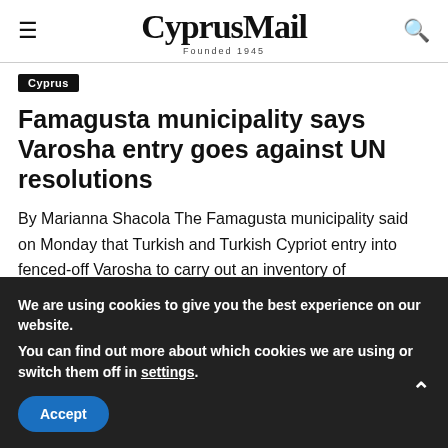CyprusMail Founded 1945
Cyprus
Famagusta municipality says Varosha entry goes against UN resolutions
By Marianna Shacola The Famagusta municipality said on Monday that Turkish and Turkish Cypriot entry into fenced-off Varosha to carry out an inventory of properties...
Read more
We are using cookies to give you the best experience on our website.
You can find out more about which cookies we are using or switch them off in settings.
Accept